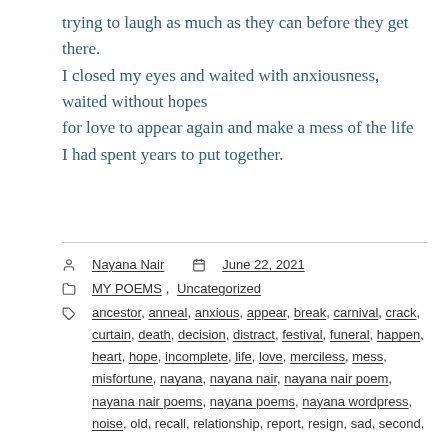trying to laugh as much as they can before they get there.
I closed my eyes and waited with anxiousness,
waited without hopes
for love to appear again and make a mess of the life
I had spent years to put together.
Nayana Nair  June 22, 2021
MY POEMS, Uncategorized
ancestor, anneal, anxious, appear, break, carnival, crack, curtain, death, decision, distract, festival, funeral, happen, heart, hope, incomplete, life, love, merciless, mess, misfortune, nayana, nayana nair, nayana nair poem, nayana nair poems, nayana poems, nayana wordpress, noise, old, recall, relationship, report, resign, sad, second,